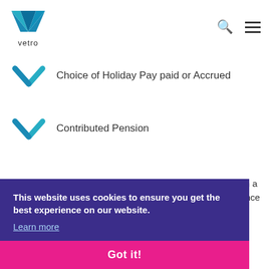vetro
Choice of Holiday Pay paid or Accrued
Contributed Pension
This website uses cookies to ensure you get the best experience on our website. Learn more
Got it!